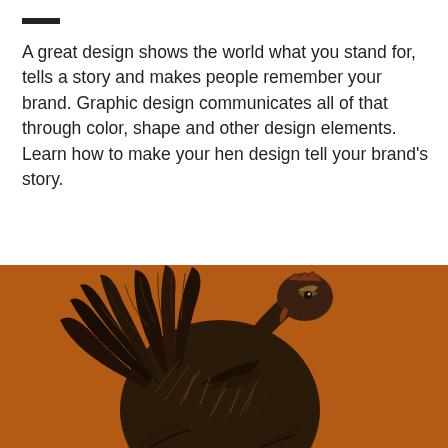—
A great design shows the world what you stand for, tells a story and makes people remember your brand. Graphic design communicates all of that through color, shape and other design elements. Learn how to make your hen design tell your brand's story.
[Figure (illustration): Dark brown illustrated rooster/hen with detailed feathers on an orange-brown background, looking upward.]